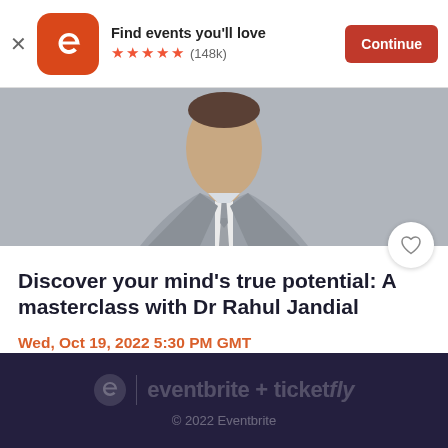Find events you'll love ★★★★★ (148k) Continue
[Figure (screenshot): Eventbrite app banner with orange rounded-square logo, 5 orange stars, review count (148k), and a red Continue button]
[Figure (photo): Cropped photo of a man in a grey suit and striped tie from shoulders up, grey background, with a circular white heart/favorite button overlaid at bottom right]
Discover your mind's true potential: A masterclass with Dr Rahul Jandial
Wed, Oct 19, 2022 5:30 PM GMT
£51.83
eventbrite + ticketfly
© 2022 Eventbrite